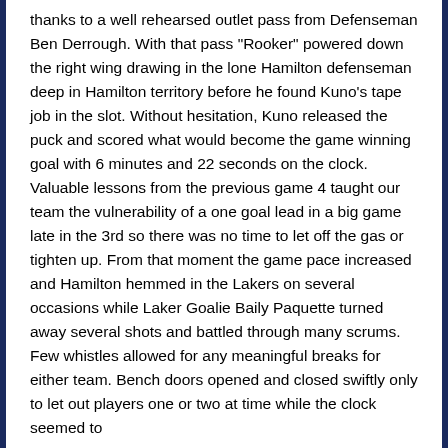thanks to a well rehearsed outlet pass from Defenseman Ben Derrough. With that pass "Rooker" powered down the right wing drawing in the lone Hamilton defenseman deep in Hamilton territory before he found Kuno's tape job in the slot. Without hesitation, Kuno released the puck and scored what would become the game winning goal with 6 minutes and 22 seconds on the clock. Valuable lessons from the previous game 4 taught our team the vulnerability of a one goal lead in a big game late in the 3rd so there was no time to let off the gas or tighten up. From that moment the game pace increased and Hamilton hemmed in the Lakers on several occasions while Laker Goalie Baily Paquette turned away several shots and battled through many scrums. Few whistles allowed for any meaningful breaks for either team. Bench doors opened and closed swiftly only to let out players one or two at time while the clock seemed to